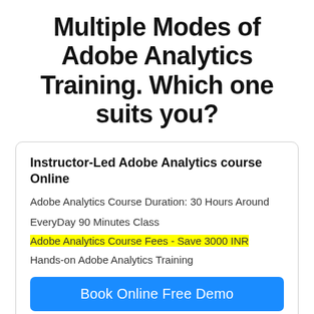Multiple Modes of Adobe Analytics Training. Which one suits you?
Instructor-Led Adobe Analytics course Online
Adobe Analytics Course Duration: 30 Hours Around
EveryDay 90 Minutes Class
Adobe Analytics Course Fees - Save 3000 INR
Hands-on Adobe Analytics Training
Book Online Free Demo